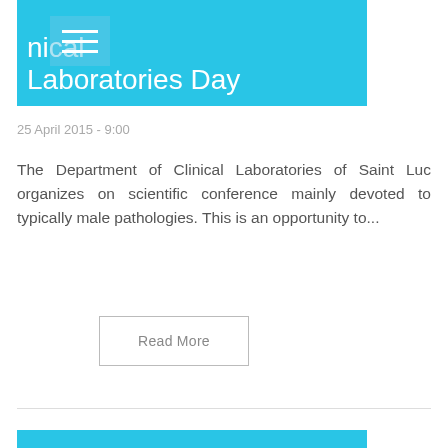[Figure (other): Cyan/turquoise banner with hamburger menu icon and title text 'nical Laboratories Day']
25 April 2015 - 9:00
The Department of Clinical Laboratories of Saint Luc organizes on scientific conference mainly devoted to typically male pathologies. This is an opportunity to...
Read More
[Figure (other): Cyan/turquoise banner with title text 'Well Done – MSD']